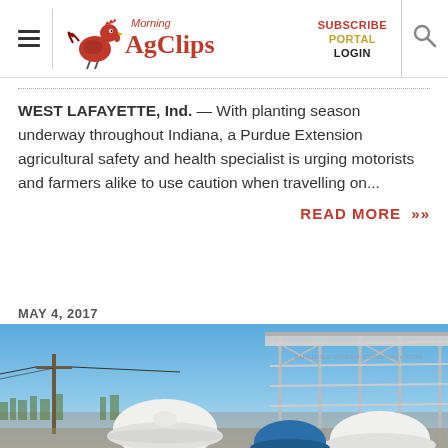Morning AgClips — SUBSCRIBE PORTAL LOGIN
Follow these tips for a safer drive during planting season
WEST LAFAYETTE, Ind. — With planting season underway throughout Indiana, a Purdue Extension agricultural safety and health specialist is urging motorists and farmers alike to use caution when travelling on...
READ MORE »
MAY 4, 2017
[Figure (photo): Construction scene with workers in white hard hats in foreground, steel frame building structure on right, utility pole on left, blue sky background]